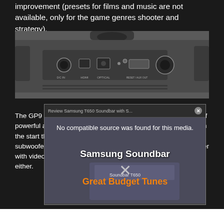improvement (presets for films and music are not available, only for the game genres shooter and strategy).
[Figure (photo): Close-up photo of the back panel of a soundbar showing ports: DC IN, HDMI, OPTICAL IN, RESET/AUX OUT, and a volume knob on top.]
The GP9 sounded relatively hollow and there was a clear lack of powerful and transparent bass and clear highs. It was clear from the start that we couldn't recommend this area without a subwoofer, but that was just too thin for us. It looked a little better with videos and films, but the performance didn't convince us either.
[Figure (screenshot): Video overlay popup showing 'Review Samsung T650 Soundbar with S...' title bar with close button, 'No compatible source was found for this media.' text, 'Samsung Soundbar' label, an X mark, and 'Great Budget Tunes' text in orange, with a product box image at the bottom.]